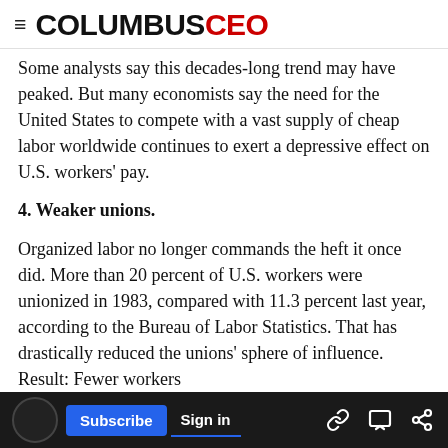COLUMBUSCEO
Some analysts say this decades-long trend may have peaked. But many economists say the need for the United States to compete with a vast supply of cheap labor worldwide continues to exert a depressive effect on U.S. workers' pay.
4. Weaker unions.
Organized labor no longer commands the heft it once did. More than 20 percent of U.S. workers were unionized in 1983, compared with 11.3 percent last year, according to the Bureau of Labor Statistics. That has drastically reduced the unions' sphere of influence. Result: Fewer workers
5. Low inflation.